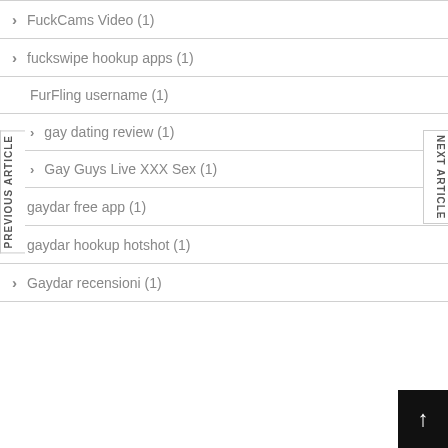FuckCams Video (1)
fuckswipe hookup apps (1)
FurFling username (1)
gay dating review (1)
Gay Guys Live XXX Sex (1)
gaydar free app (1)
gaydar hookup hotshot (1)
Gaydar recensioni (1)